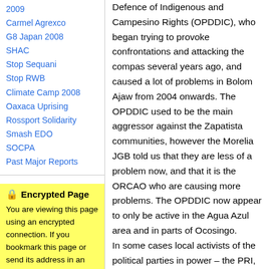2009
Carmel Agrexco
G8 Japan 2008
SHAC
Stop Sequani
Stop RWB
Climate Camp 2008
Oaxaca Uprising
Rossport Solidarity
Smash EDO
SOCPA
Past Major Reports
🔒 Encrypted Page
You are viewing this page using an encrypted connection. If you bookmark this page or send its address in an email you might want to use the un-encrypted address of this page.
If you recieved a warning
Defence of Indigenous and Campesino Rights (OPDDIC), who began trying to provoke confrontations and attacking the compas several years ago, and caused a lot of problems in Bolom Ajaw from 2004 onwards. The OPDDIC used to be the main aggressor against the Zapatista communities, however the Morelia JGB told us that they are less of a problem now, and that it is the ORCAO who are causing more problems. The OPDDIC now appear to only be active in the Agua Azul area and in parts of Ocosingo. In some cases local activists of the political parties in power – the PRI, PRD, PAN and PVEM are the ones causing conflict. The attacks are increasing in intensity in the areas of the Caracoles of La Realidad and Oventic, with party activists persuading ejidatarios (inhabitants of communal land) and communities to take part in trying to seize land and destroy Zapatista autonomous